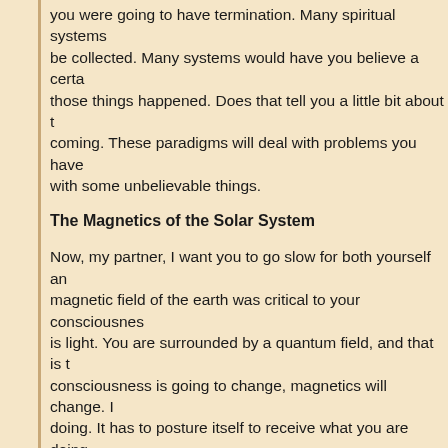you were going to have termination. Many spiritual systems would have you believe a certain amount of karma had to be collected. Many systems would have you believe a certain way about things, and none of those things happened. Does that tell you a little bit about the system you are in? Better things are coming. These paradigms will deal with problems you have not even thought of yet, and will surprise you with some unbelievable things.
The Magnetics of the Solar System
Now, my partner, I want you to go slow for both yourself and the listener and the reader. The magnetic field of the earth was critical to your consciousness. The delivery system for your DNA is light. You are surrounded by a quantum field, and that is the magnetic field of the earth. If consciousness is going to change, magnetics will change. It has to recalibrate to what Human is doing. It has to posture itself to receive what you are doing. If you change your consciousness, can the magnetics stay the same? It can't. So the magnetics must change.
So it started with an actual shift of the magnetic lay lines of the earth -- something I predicted more than 20 years ago. Now your compasses reflect this. Your magnetics has moved greatly since 1989.
Now, there has to be more. What else do you think could change? Well, the sun has to recalibrate, and in order for it to do so, it's going to need help from the other gravitational sources for this planet. If you know anything about how the solar system works, what I'm going to say will make sense.
In your solar system, the core is the sun. It sends out what are called the solar winds, and magnetically those are connections that literally blast out from the sun and connect to all